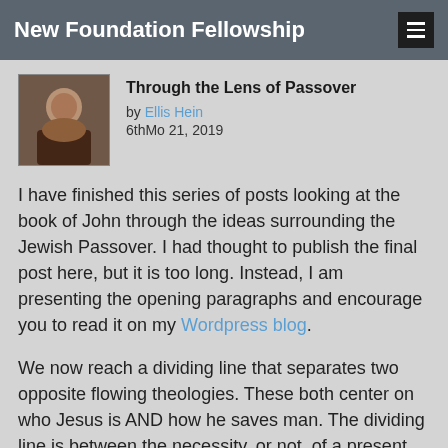New Foundation Fellowship
Through the Lens of Passover
by Ellis Hein
6thMo 21, 2019
I have finished this series of posts looking at the book of John through the ideas surrounding the Jewish Passover. I had thought to publish the final post here, but it is too long. Instead, I am presenting the opening paragraphs and encourage you to read it on my Wordpress blog.
We now reach a dividing line that separates two opposite flowing theologies. These both center on who Jesus is AND how he saves man. The dividing line is between the necessity, or not, of a present Christ.
When we look at most of Christendom's theology concerning the crucifixion and resurrection we see that it comes from their understanding of the writings ascribed